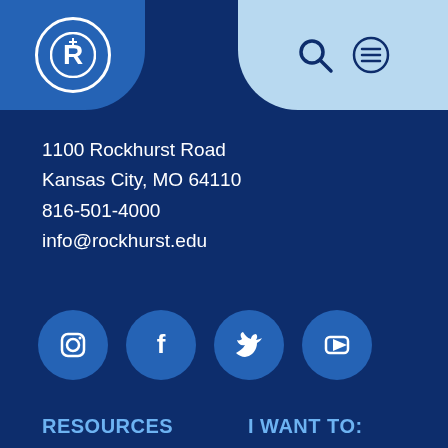[Figure (logo): Rockhurst University logo - R in a circle on blue pill-shaped background]
[Figure (illustration): Search (magnifier) and menu (hamburger) icons on light blue pill background]
1100 Rockhurst Road
Kansas City, MO 64110
816-501-4000
info@rockhurst.edu
[Figure (illustration): Social media icons: Instagram, Facebook, Twitter, YouTube]
RESOURCES
University Catalog
Bookstore
Calendar
Campus Map
Consumer Information
Directory
I WANT TO:
Apply
Visit
Give
Find a Job
Hire a Hawk
Reserve Event Space